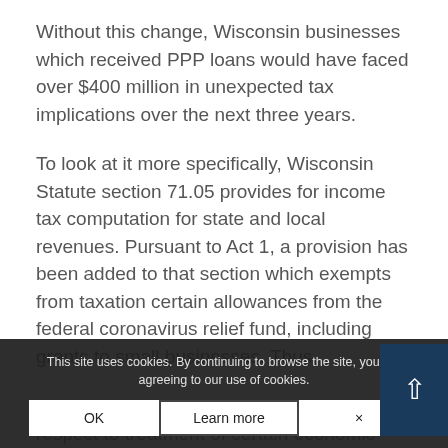Without this change, Wisconsin businesses which received PPP loans would have faced over $400 million in unexpected tax implications over the next three years.
To look at it more specifically, Wisconsin Statute section 71.05 provides for income tax computation for state and local revenues. Pursuant to Act 1, a provision has been added to that section which exempts from taxation certain allowances from the federal coronavirus relief fund, including grants to small businesses. Thus, Act 1 federalizes Wisconsin tax law with respect to treatment of certain economic support programs funded through the Families First Coronavirus Relief, and Eco...ity Act, including loans under the PPP and deduct...
This site uses cookies. By continuing to browse the site, you are agreeing to our use of cookies.